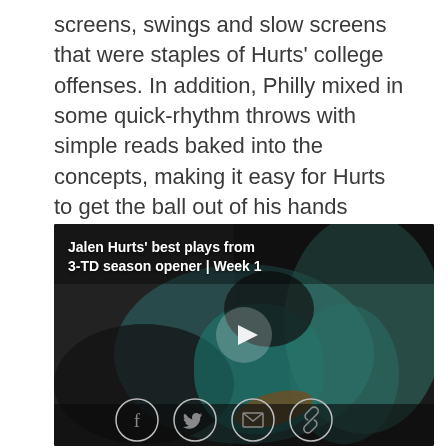screens, swings and slow screens that were staples of Hurts' college offenses. In addition, Philly mixed in some quick-rhythm throws with simple reads baked into the concepts, making it easy for Hurts to get the ball out of his hands without having to read the full field. The play calls helped the second-year pro string together six consecutive completions to open the game.
[Figure (photo): Video thumbnail showing Jalen Hurts in Philadelphia Eagles teal uniform carrying a football, with a play button overlay. Title text reads: Jalen Hurts' best plays from 3-TD season opener | Week 1]
[Figure (other): Social sharing icons row: Facebook, Twitter, Email, Link/share]